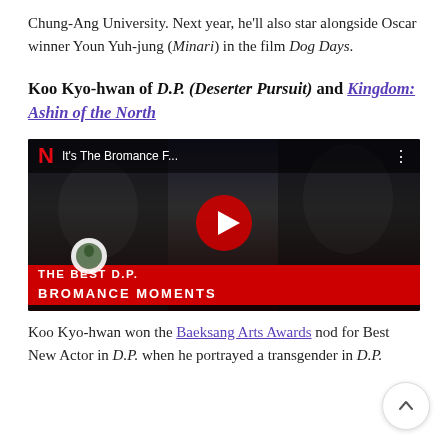Chung-Ang University. Next year, he'll also star alongside Oscar winner Youn Yuh-jung (Minari) in the film Dog Days.
Koo Kyo-hwan of D.P. (Deserter Pursuit) and Kingdom: Ashin of the North
[Figure (screenshot): YouTube video thumbnail showing Netflix 'It's The Bromance F...' video with red play button, Netflix logo, and 'THE BEST D.P. BROMANCE MOMENTS' text overlay on dark background]
Koo Kyo-hwan won the Baeksang Arts Awards nod for Best New Actor in D.P. when he portrayed a transgender in... Jane. Although he's more known as a